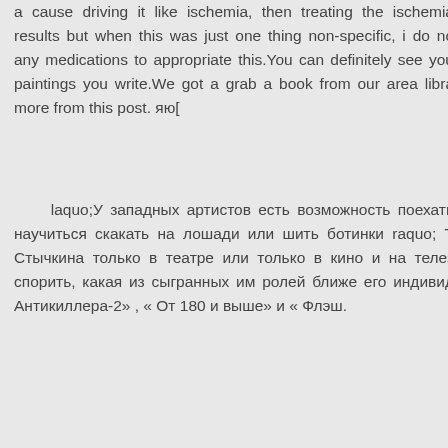a cause driving it like ischemia, then treating the ischemia results but when this was just one thing non-specific, i do not any medications to appropriate this.You can definitely see you paintings you write.We got a grab a book from our area libra more from this post. яю[
laquo;У западных артистов есть возможность поехать научиться скакать на лошади или шить ботинки raquo; Т Стычкина только в театре или только в кино и на телез спорить, какая из сыгранных им ролей ближе его индивид Антикиллера-2» , « От 180 и выше» и « Флэш.